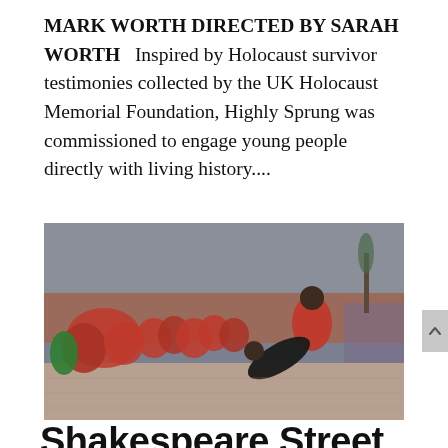MARK WORTH DIRECTED BY SARAH WORTH   Inspired by Holocaust survivor testimonies collected by the UK Holocaust Memorial Foundation, Highly Sprung was commissioned to engage young people directly with living history....
[Figure (photo): Outdoor performance/dance scene. A group of children and young people wearing red hoodies stand in a line watching two performers — one in red holding another person dressed in black who is leaning back dramatically. A crowd of spectators is visible in the background near a building.]
Shakespeare Street